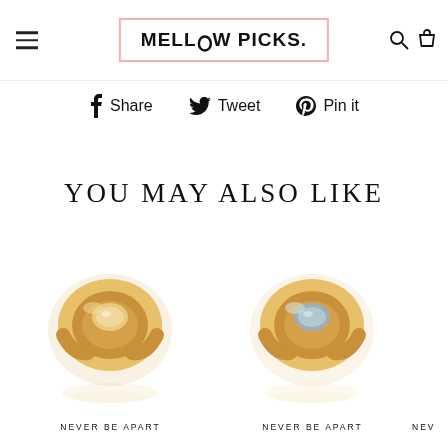[Figure (logo): Mellow Picks logo in black bold text inside a pink-bordered rectangle, with hamburger menu icon on left and search/cart icons on right]
f Share   Tweet   Pin it
YOU MAY ALSO LIKE
[Figure (photo): Gold ring with a warm-toned oval stone, shown with reflection below]
[Figure (photo): Gold ring with a blue-grey oval stone, shown with reflection below]
NEVER BE APART
NEVER BE APART
NEV